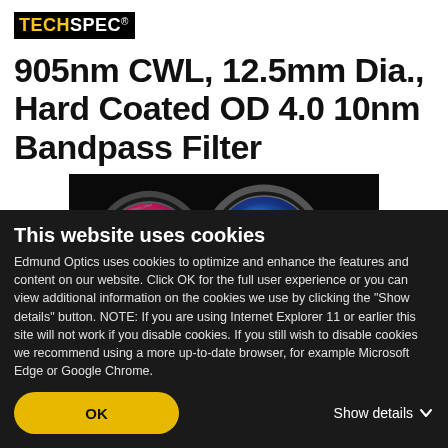[Figure (logo): TECHSPEC logo in black box with yellow TECH and white SPEC text]
905nm CWL, 12.5mm Dia., Hard Coated OD 4.0 10nm Bandpass Filter
[Figure (photo): Two circular optical bandpass filters showing iridescent pink/gold and blue coatings on a dark background]
This website uses cookies
Edmund Optics uses cookies to optimize and enhance the features and content on our website. Click OK for the full user experience or you can view additional information on the cookies we use by clicking the "Show details" button. NOTE: If you are using Internet Explorer 11 or earlier this site will not work if you disable cookies. If you still wish to disable cookies we recommend using a more up-to-date browser, for example Microsoft Edge or Google Chrome.
OK
Show details